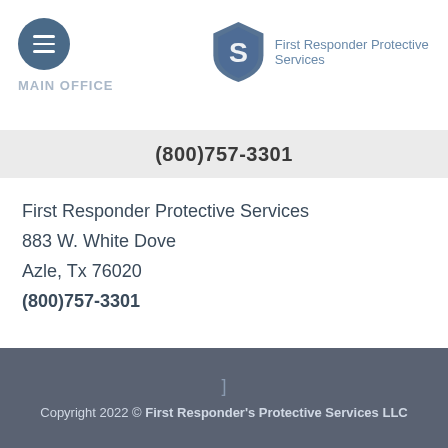[Figure (logo): First Responder Protective Services shield logo with stylized S and company name text]
MAIN OFFICE
(800)757-3301
First Responder Protective Services
883 W. White Dove
Azle, Tx 76020
(800)757-3301
Copyright 2022 © First Responder's Protective Services LLC